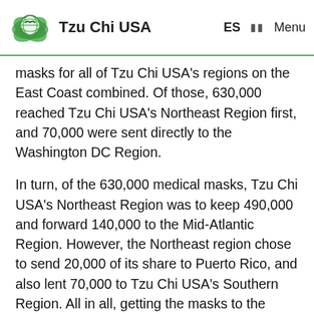Tzu Chi USA  ES  Menu
masks for all of Tzu Chi USA's regions on the East Coast combined. Of those, 630,000 reached Tzu Chi USA's Northeast Region first, and 70,000 were sent directly to the Washington DC Region.
In turn, of the 630,000 medical masks, Tzu Chi USA's Northeast Region was to keep 490,000 and forward 140,000 to the Mid-Atlantic Region. However, the Northeast region chose to send 20,000 of its share to Puerto Rico, and also lent 70,000 to Tzu Chi USA's Southern Region. All in all, getting the masks to the different regions would be a logistical feat.